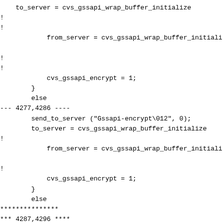to_server = cvs_gssapi_wrap_buffer_initialize
!
!
            from_server = cvs_gssapi_wrap_buffer_initiali
!
!
            cvs_gssapi_encrypt = 1;
        }
        else
--- 4277,4286 ----
        send_to_server ("Gssapi-encrypt\012", 0);
        to_server = cvs_gssapi_wrap_buffer_initialize
!
            from_server = cvs_gssapi_wrap_buffer_initiali
!
            cvs_gssapi_encrypt = 1;
        }
        else
***************
*** 4287,4296 ****
            compressed.  */

        to_server = compress_buffer_initialize (to_se
!                                               (BUFN
        from_server = compress_buffer_initialize (fro
                                                gz